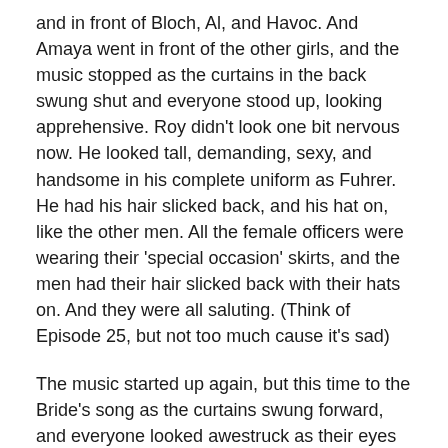and in front of Bloch, Al, and Havoc. And Amaya went in front of the other girls, and the music stopped as the curtains in the back swung shut and everyone stood up, looking apprehensive. Roy didn't look one bit nervous now. He looked tall, demanding, sexy, and handsome in his complete uniform as Fuhrer. He had his hair slicked back, and his hat on, like the other men. All the female officers were wearing their 'special occasion' skirts, and the men had their hair slicked back with their hats on. And they were all saluting. (Think of Episode 25, but not too much cause it's sad)
The music started up again, but this time to the Bride's song as the curtains swung forward, and everyone looked awestruck as their eyes settled on Riza. She had a small smile gracing her lips, and she began her walk down the aisle, alone. Her red rose bouquet was held at waist level, and her train and veil followed her perfectly down the long aisle. She kept her eyes focused ahead,